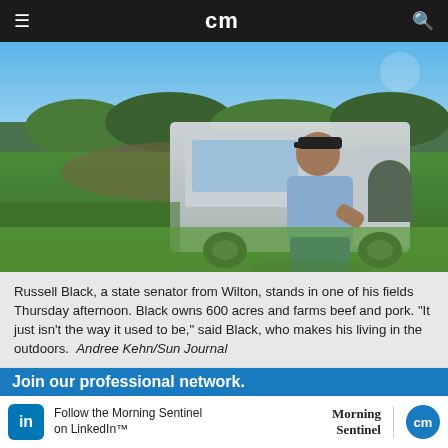cm
[Figure (photo): Russell Black, a man wearing a black baseball cap, sunglasses, and a light blue t-shirt, stands leaning against the tailgate of a white pickup truck in a green field. Trees and open land are visible in the background under a blue sky.]
Russell Black, a state senator from Wilton, stands in one of his fields Thursday afternoon. Black owns 600 acres and farms beef and pork. "It just isn't the way it used to be," said Black, who makes his living in the outdoors.  Andree Kehn/Sun Journal
[Figure (photo): Partial view of a second outdoor photo showing trees and water under a blue sky.]
Join our professional network.
Follow the Morning Sentinel on LinkedIn™